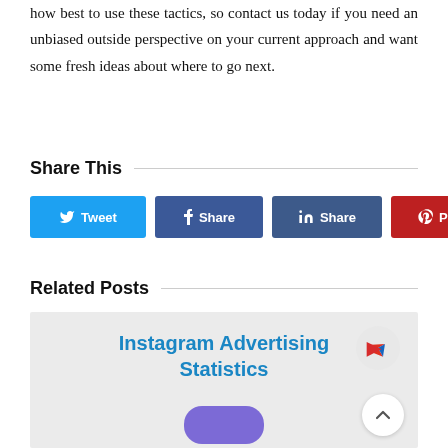how best to use these tactics, so contact us today if you need an unbiased outside perspective on your current approach and want some fresh ideas about where to go next.
Share This
[Figure (infographic): Social share buttons: Tweet (Twitter/blue), Share (Facebook/dark blue), Share (LinkedIn/slate blue), Pin It (Pinterest/red)]
Related Posts
[Figure (infographic): Related post card with light gray background showing 'Instagram Advertising Statistics' title in blue, a logo arrow icon top right, a scroll-to-top button bottom right, and a purple rounded shape at the bottom center.]